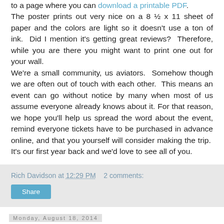to a page where you can download a printable PDF. The poster prints out very nice on a 8 ½ x 11 sheet of paper and the colors are light so it doesn't use a ton of ink.  Did I mention it's getting great reviews?  Therefore, while you are there you might want to print one out for your wall. We're a small community, us aviators.  Somehow though we are often out of touch with each other.  This means an event can go without notice by many when most of us assume everyone already knows about it. For that reason, we hope you'll help us spread the word about the event, remind everyone tickets have to be purchased in advance online, and that you yourself will consider making the trip.  It's our first year back and we'd love to see all of you.
Rich Davidson at 12:29 PM   2 comments:
Share
Monday, August 18, 2014
First Fly-In Sponsor